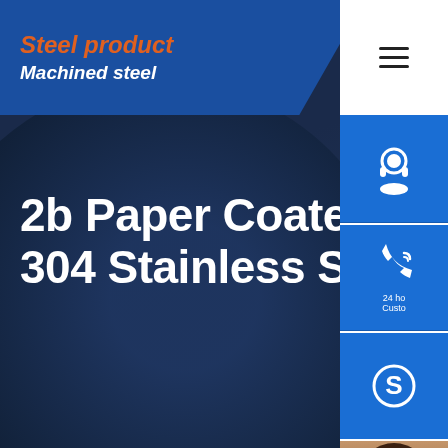Steel product — Machined steel
2b Paper Coated ASTM A304 Stainless Steel Sheet
[Figure (screenshot): Sidebar with customer service icons: headset/support, phone, and Skype buttons in blue, plus a chat widget showing a female customer service representative with headset, text 'Hello,How may I help you?' and an orange 'Chat Now' button]
24 ho Customer
Hello,How may I help you ?
Chat Now
Home > Steel Plate > 2b Paper Coated ASTM Stainless Steel Sheet